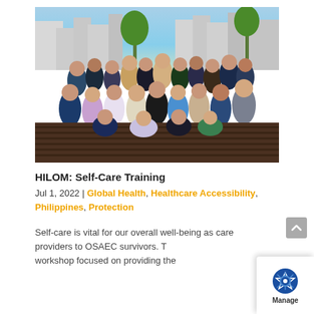[Figure (photo): Group photo of approximately 25 people posing together on a rooftop or deck area, with urban skyline and palm trees visible in the background. People are arranged in two rows — standing in the back and sitting/kneeling in the front.]
HILOM: Self-Care Training
Jul 1, 2022 | Global Health, Healthcare Accessibility, Philippines, Protection
Self-care is vital for our overall well-being as care providers to OSAEC survivors. This workshop focused on providing the